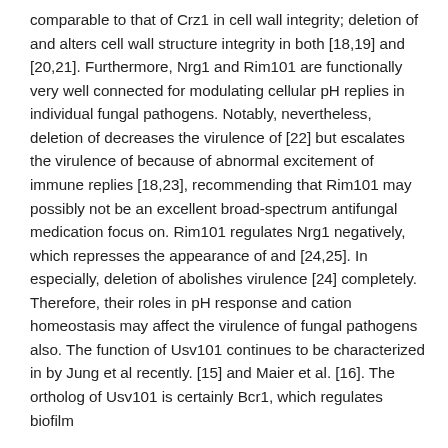comparable to that of Crz1 in cell wall integrity; deletion of and alters cell wall structure integrity in both [18,19] and [20,21]. Furthermore, Nrg1 and Rim101 are functionally very well connected for modulating cellular pH replies in individual fungal pathogens. Notably, nevertheless, deletion of decreases the virulence of [22] but escalates the virulence of because of abnormal excitement of immune replies [18,23], recommending that Rim101 may possibly not be an excellent broad-spectrum antifungal medication focus on. Rim101 regulates Nrg1 negatively, which represses the appearance of and [24,25]. In especially, deletion of abolishes virulence [24] completely. Therefore, their roles in pH response and cation homeostasis may affect the virulence of fungal pathogens also. The function of Usv101 continues to be characterized in by Jung et al recently. [15] and Maier et al. [16]. The ortholog of Usv101 is certainly Bcr1, which regulates biofilm